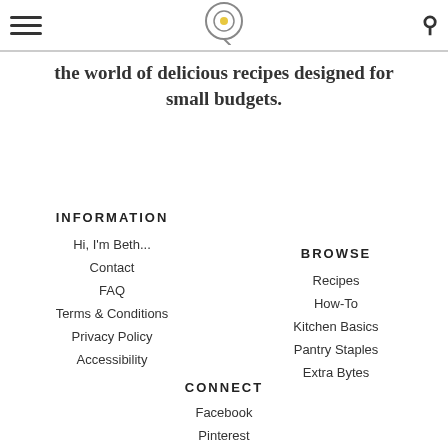ramen noodles night after night. Welcome to the world of delicious recipes designed for small budgets.
the world of delicious recipes designed for small budgets.
INFORMATION
Hi, I'm Beth...
Contact
FAQ
Terms & Conditions
Privacy Policy
Accessibility
BROWSE
Recipes
How-To
Kitchen Basics
Pantry Staples
Extra Bytes
CONNECT
Facebook
Pinterest
Instagram